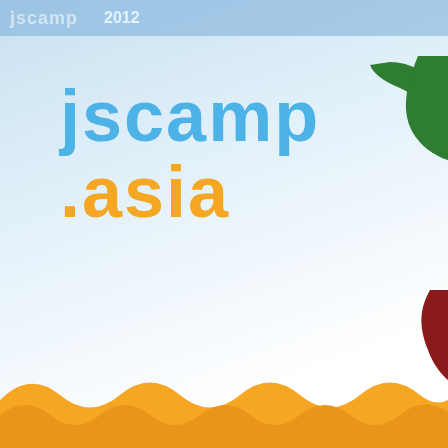jscamp 2012
[Figure (logo): jscamp.asia logo with blue text 'jscamp' and orange text '.asia', with green and dark red decorative shapes on the right, and an orange wave pattern at the bottom on a light blue gradient background]